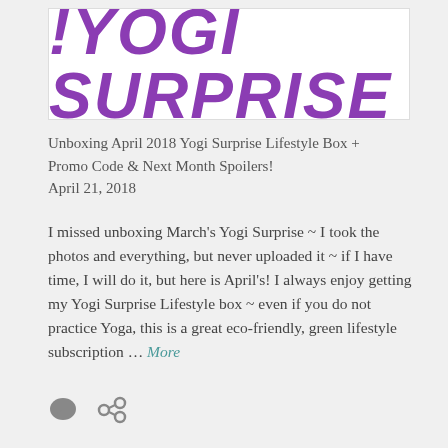[Figure (logo): Yogi Surprise logo — stylized purple bold italic text reading '!YOGI SURPRISE' on white background with border]
Unboxing April 2018 Yogi Surprise Lifestyle Box + Promo Code & Next Month Spoilers!
April 21, 2018
I missed unboxing March's Yogi Surprise ~ I took the photos and everything, but never uploaded it ~ if I have time, I will do it, but here is April's! I always enjoy getting my Yogi Surprise Lifestyle box ~ even if you do not practice Yoga, this is a great eco-friendly, green lifestyle subscription … More